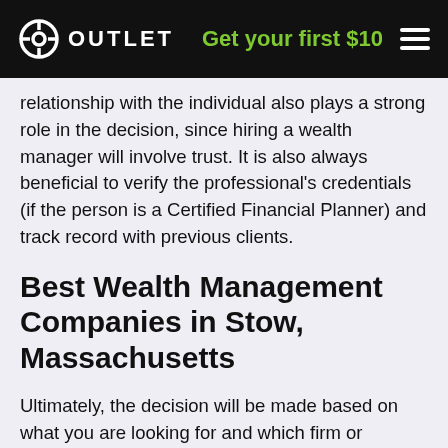OUTLET  Get your first $10
relationship with the individual also plays a strong role in the decision, since hiring a wealth manager will involve trust. It is also always beneficial to verify the professional's credentials (if the person is a Certified Financial Planner) and track record with previous clients.
Best Wealth Management Companies in Stow, Massachusetts
Ultimately, the decision will be made based on what you are looking for and which firm or company offers you the best match. Be that a wealth manager professional or a robo-